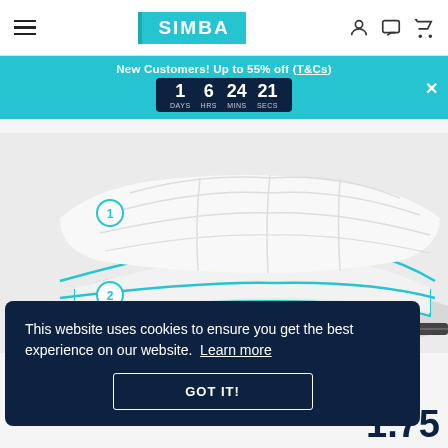SIMBA
New Customers! Up to 55% off (T&Cs)
1 DAYS  6 HRS  24 MINS  21 SECS
[Figure (photo): Simba pillow product image showing two layers labeled 1 and 2, with teal border detail and pillow components exploded/separated view]
This website uses cookies to ensure you get the best experience on our website. Learn more
GOT IT!
1.75